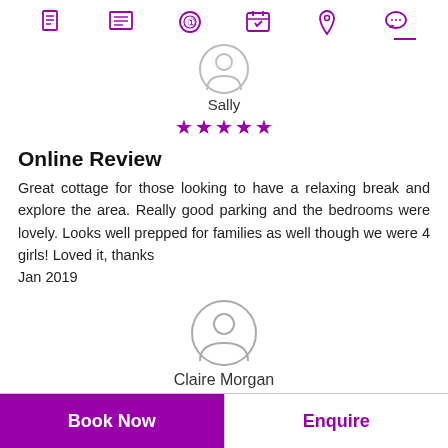Navigation icons: document, list, payment, calendar, location, chat
[Figure (illustration): Partial user avatar circle (Sally) at top]
Sally
★★★★★ (5 stars, purple)
Online Review
Great cottage for those looking to have a relaxing break and explore the area. Really good parking and the bedrooms were lovely. Looks well prepped for families as well though we were 4 girls! Loved it, thanks
Jan 2019
[Figure (illustration): User avatar circle icon for Claire Morgan]
Claire Morgan
★★★★★ (5 stars, purple, partially visible)
Book Now | Enquire